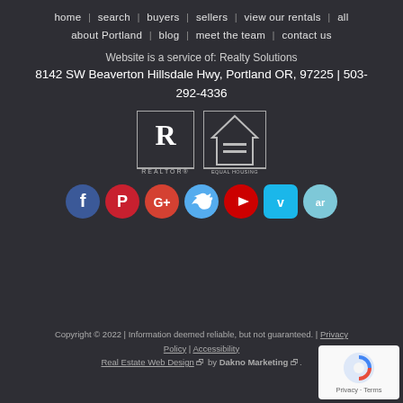home | search | buyers | sellers | view our rentals | all about Portland | blog | meet the team | contact us
Website is a service of: Realty Solutions
8142 SW Beaverton Hillsdale Hwy, Portland OR, 97225 | 503-292-4336
[Figure (logo): Realtor logo and Equal Housing Opportunity logo]
[Figure (infographic): Social media icons: Facebook, Pinterest, Google+, Twitter, YouTube, Vimeo, AR]
Copyright © 2022 | Information deemed reliable, but not guaranteed. | Privacy Policy | Accessibility
Real Estate Web Design by Dakno Marketing.